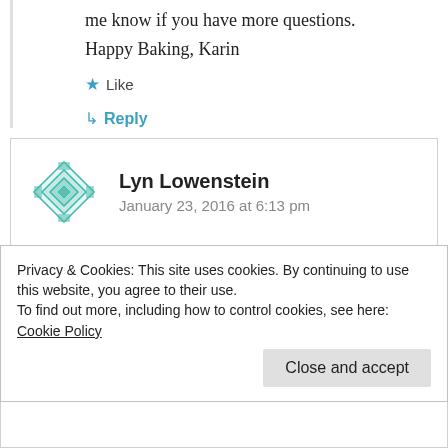me know if you have more questions.
Happy Baking, Karin
★ Like
↳ Reply
Lyn Lowenstein
January 23, 2016 at 6:13 pm
Thanks Karin, I intend to a make this in the
Privacy & Cookies: This site uses cookies. By continuing to use this website, you agree to their use.
To find out more, including how to control cookies, see here: Cookie Policy
Close and accept